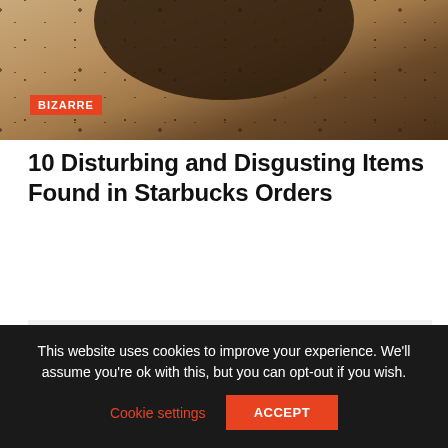[Figure (photo): Close-up photo of a Starbucks cup or coffee-related item with a dark curved arch shape at top and speckled beige/brown texture, with an orange BIZARRE badge overlay]
10 Disturbing and Disgusting Items Found in Starbucks Orders
[Figure (other): Gray placeholder content block]
This website uses cookies to improve your experience. We'll assume you're ok with this, but you can opt-out if you wish.
Cookie settings
ACCEPT